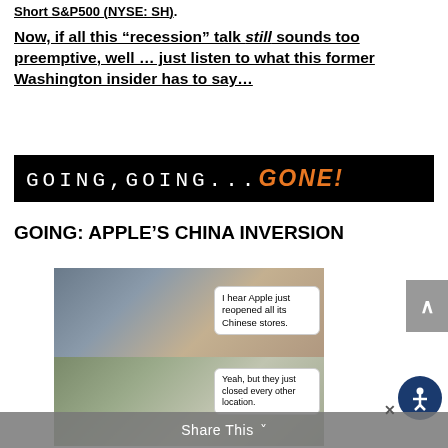Short S&P500 (NYSE: SH).
Now, if all this “recession” talk still sounds too preemptive, well … just listen to what this former Washington insider has to say…
[Figure (other): Black banner with white monospace text 'GOING,GOING...' followed by orange italic bold text 'GONE!']
GOING: APPLE’S CHINA INVERSION
[Figure (photo): Meme image with two panels: top panel shows a man in a car with speech bubble 'I hear Apple just reopened all its Chinese stores.'; bottom panel shows a woman with speech bubble 'Yeah, but they just closed every other location.']
Share This